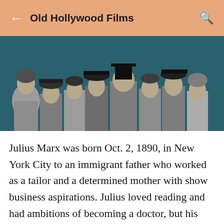Old Hollywood Films
[Figure (photo): Black and white group photo of classic Hollywood actors and comedians, displayed against a teal background. Multiple figures including men in hats and a woman on the right.]
Julius Marx was born Oct. 2, 1890, in New York City to an immigrant father who worked as a tailor and a determined mother with show business aspirations. Julius loved reading and had ambitions of becoming a doctor, but his family lacked the money to pay for college, so Julius along with brothers Milton and Adolph (later nicknamed Gummo and Harpo) and another boy named Lou Levy hit the road as a singing group